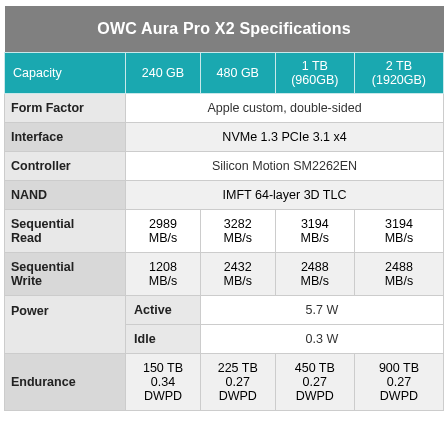|  | 240 GB | 480 GB | 1 TB (960GB) | 2 TB (1920GB) |
| --- | --- | --- | --- | --- |
| Form Factor | Apple custom, double-sided |  |  |  |
| Interface | NVMe 1.3 PCIe 3.1 x4 |  |  |  |
| Controller | Silicon Motion SM2262EN |  |  |  |
| NAND | IMFT 64-layer 3D TLC |  |  |  |
| Sequential Read | 2989 MB/s | 3282 MB/s | 3194 MB/s | 3194 MB/s |
| Sequential Write | 1208 MB/s | 2432 MB/s | 2488 MB/s | 2488 MB/s |
| Power Active | 5.7 W |  |  |  |
| Power Idle | 0.3 W |  |  |  |
| Endurance | 150 TB 0.34 DWPD | 225 TB 0.27 DWPD | 450 TB 0.27 DWPD | 900 TB 0.27 DWPD |